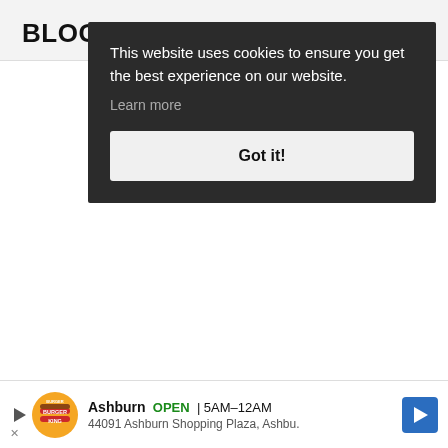BLOG I
This website uses cookies to ensure you get the best experience on our website.
Learn more
Got it!
[Figure (infographic): Burger King advertisement banner showing logo, Ashburn location open 5AM-12AM, address 44091 Ashburn Shopping Plaza, Ashbu., with navigation arrow icon]